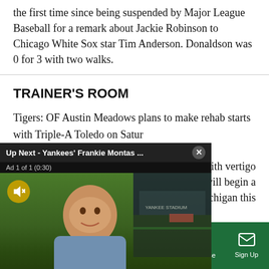the first time since being suspended by Major League Baseball for a remark about Jackie Robinson to Chicago White Sox star Tim Anderson. Donaldson was 0 for 3 with two walks.
TRAINER'S ROOM
Tigers: OF Austin Meadows plans to make rehab starts with Triple-A Toledo on Saturday and Sunday. Meadows ... May 16 with vertigo ... ique) will begin a ... est Michigan this
[Figure (screenshot): Video overlay showing 'Up Next - Yankees' Frankie Montas ...' with close button, Ad 1 of 1 (0:30) label, video frame of Max Goodman (@MaxTGoodman) at Yankee Stadium, mute button visible]
Sections | NY Edition | Philly | Games | Advertise | Sign Up